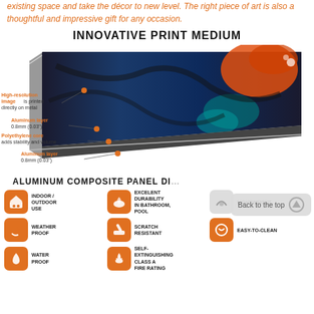existing space and take the décor to new level. The right piece of art is also a thoughtful and impressive gift for any occasion.
INNOVATIVE PRINT MEDIUM
[Figure (infographic): Diagram of aluminum composite metal print panel showing layers: high-resolution image printed on metal, aluminum layer 0.8mm (0.03"), polyethylene core adds stability and volume, aluminum layer 0.8mm (0.03"). Abstract colorful artwork visible on panel surface.]
ALUMINUM COMPOSITE PANEL DI...
[Figure (infographic): Features grid showing: Indoor/Outdoor Use, Excellent Durability in Bathroom Pool, Lightweight, Weather Proof, Scratch Resistant, Easy-to-Clean, Water Proof, Self-Extinguishing Class A Fire Rating. Each with orange icon box.]